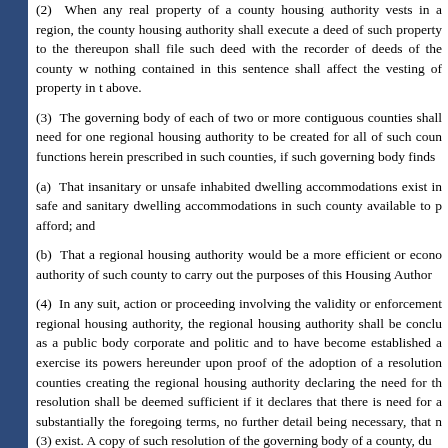(2)  When any real property of a county housing authority vests in a region, the county housing authority shall execute a deed of such property to the thereupon shall file such deed with the recorder of deeds of the county w nothing contained in this sentence shall affect the vesting of property in t above.
(3)  The governing body of each of two or more contiguous counties sha need for one regional housing authority to be created for all of such coun functions herein prescribed in such counties, if such governing body finds
(a)  That insanitary or unsafe inhabited dwelling accommodations exist in safe and sanitary dwelling accommodations in such county available to p afford; and
(b)  That a regional housing authority would be a more efficient or econo authority of such county to carry out the purposes of this Housing Author
(4)  In any suit, action or proceeding involving the validity or enforcement regional housing authority, the regional housing authority shall be conclu as a public body corporate and politic and to have become established a exercise its powers hereunder upon proof of the adoption of a resolution counties creating the regional housing authority declaring the need for th resolution shall be deemed sufficient if it declares that there is need for a substantially the foregoing terms, no further detail being necessary, that n (3) exist. A copy of such resolution of the governing body of a county, du